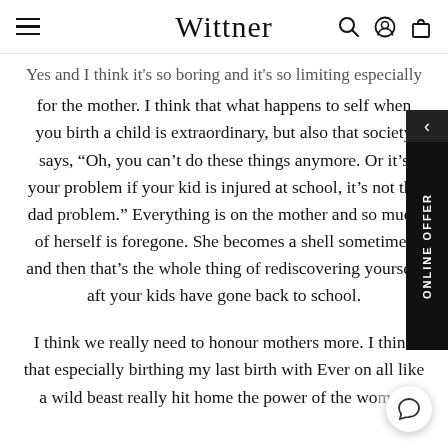Wittner
Yes and I think it's so boring and it's so limiting especially for the mother. I think that what happens to self when you birth a child is extraordinary, but also that society says, "Oh, you can't do these things anymore. Or it's your problem if your kid is injured at school, it's not the dad problem." Everything is on the mother and so much of herself is foregone. She becomes a shell sometimes and then that's the whole thing of rediscovering yourself after your kids have gone back to school.
I think we really need to honour mothers more. I think that especially birthing my last birth with Ever on all like a wild beast really hit home the power of the wom…